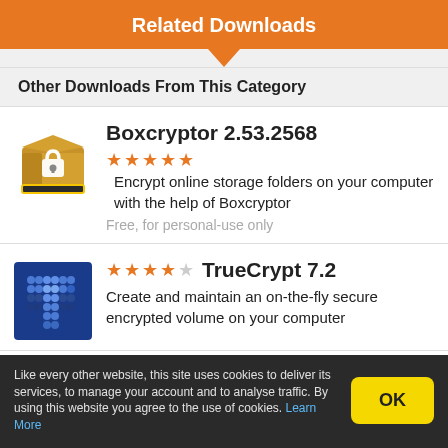Related Downloads
Other Downloads From This Category
Boxcryptor 2.53.2568
Encrypt online storage folders on your computer with the help of Boxcryptor
Free, for personal-use only
TrueCrypt 7.2
Create and maintain an on-the-fly secure encrypted volume on your computer
Like every other website, this site uses cookies to deliver its services, to manage your account and to analyse traffic. By using this website you agree to the use of cookies. Learn More